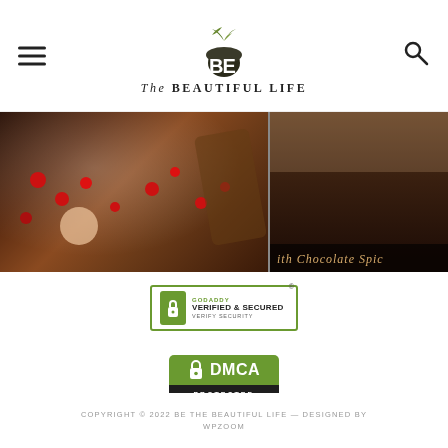The BEAUTIFUL LIFE
[Figure (photo): Food photo strip showing chocolate dessert with berries and sugar, and text 'ith Chocolate Spic' on right side]
[Figure (logo): GoDaddy Verified & Secured badge with lock icon]
[Figure (logo): DMCA Protected badge]
COPYRIGHT © 2022 BE THE BEAUTIFUL LIFE — DESIGNED BY WPZOOM